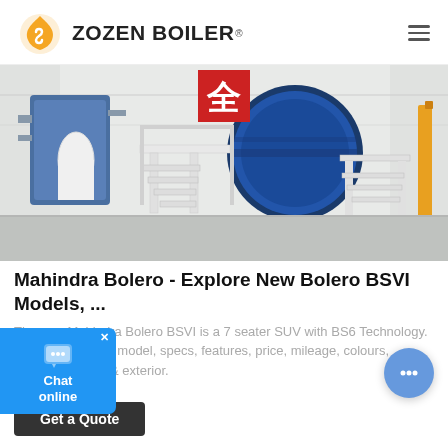ZOZEN BOILER
[Figure (photo): Industrial boiler room with large blue cylindrical boiler, white metal stairs and walkways, and red Chinese character sign on the wall.]
Mahindra Bolero - Explore New Bolero BSVI Models, ...
The new Mahindra Bolero BSVI is a 7 seater SUV with BS6 Technology. Check out Bolero model, specs, features, price, mileage, colours, variants, interior & exterior.
Get a Quote